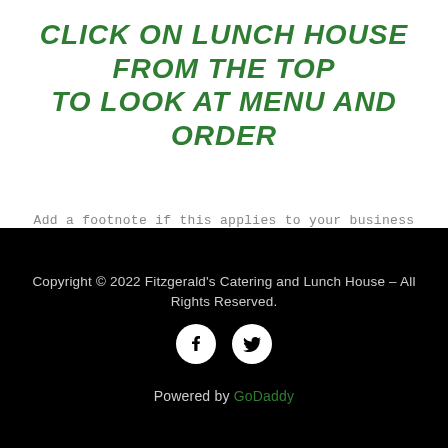CLICK ON LUNCH HOUSE FROM THE TOP TO LOOK AT MENU AND ORDER
Add a footnote if this applies to your business
Copyright © 2022 Fitzgerald's Catering and Lunch House – All Rights Reserved.
[Figure (illustration): Facebook and Twitter social media icons (white icons on white circles, black background)]
Powered by GoDaddy